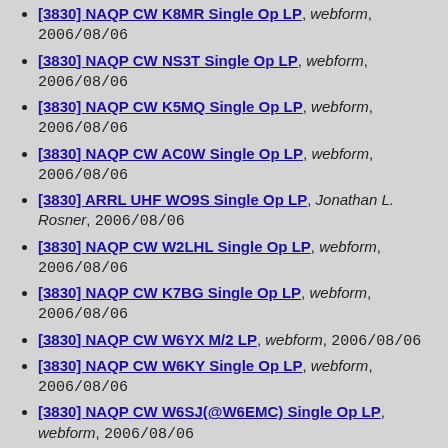[3830] NAQP CW K8MR Single Op LP, webform, 2006/08/06
[3830] NAQP CW NS3T Single Op LP, webform, 2006/08/06
[3830] NAQP CW K5MQ Single Op LP, webform, 2006/08/06
[3830] NAQP CW AC0W Single Op LP, webform, 2006/08/06
[3830] ARRL UHF WO9S Single Op LP, Jonathan L. Rosner, 2006/08/06
[3830] NAQP CW W2LHL Single Op LP, webform, 2006/08/06
[3830] NAQP CW K7BG Single Op LP, webform, 2006/08/06
[3830] NAQP CW W6YX M/2 LP, webform, 2006/08/06
[3830] NAQP CW W6KY Single Op LP, webform, 2006/08/06
[3830] NAQP CW W6SJ(@W6EMC) Single Op LP, webform, 2006/08/06
[3830] NAQP CW WO4O Single Op LP, webform, 2006/08/06
[3830] NAQP CW K9NW(@K9UWA) Single Op LP, webform, 2006/08/06
[3830] NAQP CW W6EEN(N6RT) Single Op LP, webform, 2006/08/06
[3830] NAQP CW AK0M Single Op QRP, webform,